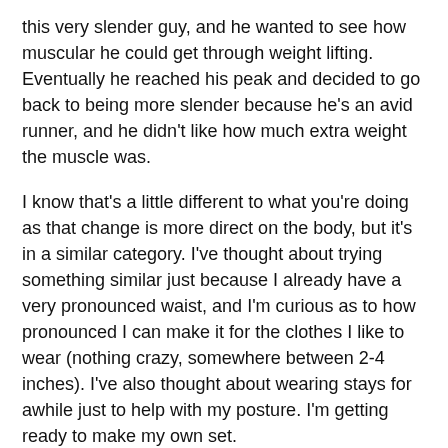this very slender guy, and he wanted to see how muscular he could get through weight lifting. Eventually he reached his peak and decided to go back to being more slender because he's an avid runner, and he didn't like how much extra weight the muscle was.
I know that's a little different to what you're doing as that change is more direct on the body, but it's in a similar category. I've thought about trying something similar just because I already have a very pronounced waist, and I'm curious as to how pronounced I can make it for the clothes I like to wear (nothing crazy, somewhere between 2-4 inches). I've also thought about wearing stays for awhile just to help with my posture. I'm getting ready to make my own set.
I completely agree about proper undergarments for the 1950s and earlier. A waist cincher makes such a difference with not only the full 1950s skirts, but the